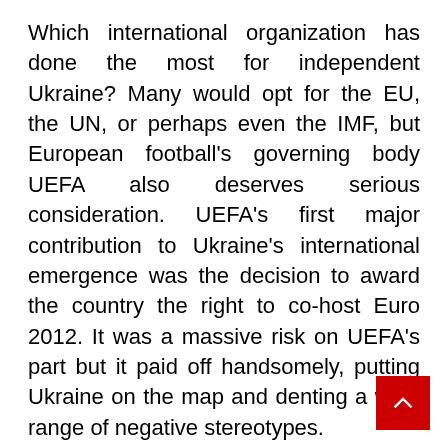Which international organization has done the most for independent Ukraine? Many would opt for the EU, the UN, or perhaps even the IMF, but European football's governing body UEFA also deserves serious consideration. UEFA's first major contribution to Ukraine's international emergence was the decision to award the country the right to co-host Euro 2012. It was a massive risk on UEFA's part but it paid off handsomely, putting Ukraine on the map and denting a wide range of negative stereotypes.
UEFA's surprise choice of Kyiv for the 2018 Champions League Final could be even more important for Ukraine, providing the country with a global stage just when it needs it most. The Kremlin's hybrid war against Ukraine has depended heavily on large doses of disinformation, with one of Russia's key themes being the portrayal of Ukraine as a failed state. The world's biggest club football...